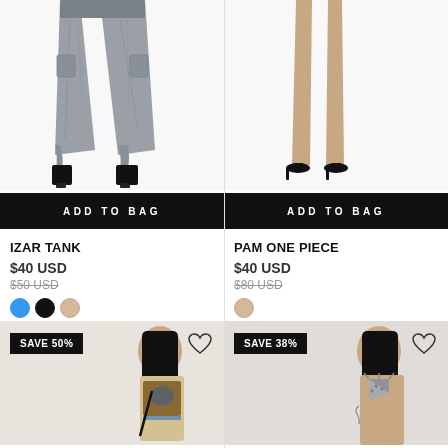[Figure (photo): Model wearing gray cargo pants with black heels, cropped to show lower body]
[Figure (photo): Model's legs wearing a nude one-piece swimsuit with black heeled mules, cropped to show lower body]
ADD TO BAG
ADD TO BAG
IZAR TANK
$40 USD
$50 USD
PAM ONE PIECE
$40 USD
$80 USD
[Figure (photo): Model wearing a graphic print tank top/bodysuit with sunglasses, SAVE 50% badge]
[Figure (photo): Model wearing a patterned bikini top, SAVE 38% badge]